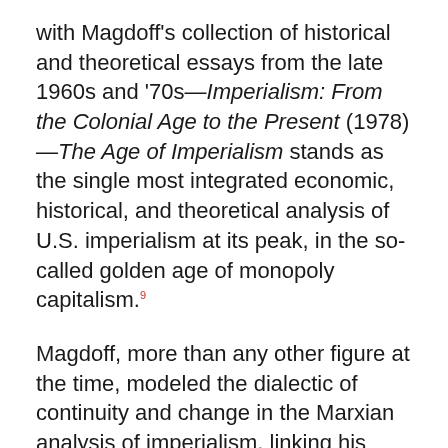with Magdoff's collection of historical and theoretical essays from the late 1960s and '70s—Imperialism: From the Colonial Age to the Present (1978)—The Age of Imperialism stands as the single most integrated economic, historical, and theoretical analysis of U.S. imperialism at its peak, in the so-called golden age of monopoly capitalism.⁹
Magdoff, more than any other figure at the time, modeled the dialectic of continuity and change in the Marxian analysis of imperialism, linking his work to Lenin's earlier analysis. Like other major Marxian theorists of imperialism from the mid–twentieth century to today, such as Baran, Sweezy, and Samir Amin, he continued to lay stress on the concentration and centralization of capital, along with the rise of monopolistic corporations, as the key to understanding late twentieth- and emerging twenty-first-century imperialism. In addition, Magdoff built on